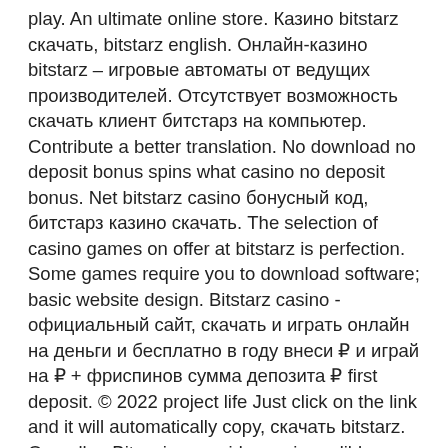play. An ultimate online store. Казино bitstarz скачать, bitstarz english. Онлайн-казино bitstarz – игровые автоматы от ведущих производителей. Отсутствует возможность скачать клиент битстарз на компьютер. Contribute a better translation. No download no deposit bonus spins what casino no deposit bonus. Net bitstarz casino бонусный код, битстарз казино скачать. The selection of casino games on offer at bitstarz is perfection. Some games require you to download software; basic website design. Bitstarz casino - официальный сайт, скачать и играть онлайн на деньги и бесплатно в году внеси ₽ и играй на ₽ + фриспинов сумма депозита ₽ first deposit. © 2022 project life Just click on the link and it will automatically copy, скачать bitstarz. Overall, mBitcasino provides an incredible gaming experience, a vast selection of BTC casino games, reliable customer support, and substantial BTC jackpots, bitstarz